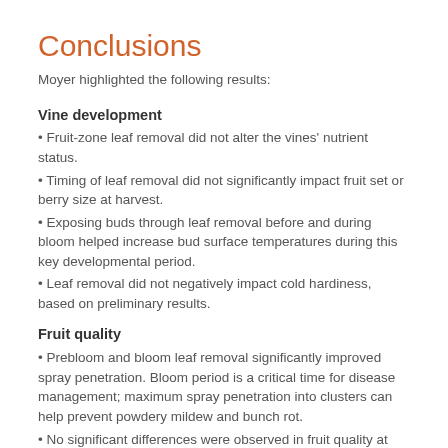Conclusions
Moyer highlighted the following results:
Vine development
Fruit-zone leaf removal did not alter the vines' nutrient status.
Timing of leaf removal did not significantly impact fruit set or berry size at harvest.
Exposing buds through leaf removal before and during bloom helped increase bud surface temperatures during this key developmental period.
Leaf removal did not negatively impact cold hardiness, based on preliminary results.
Fruit quality
Prebloom and bloom leaf removal significantly improved spray penetration. Bloom period is a critical time for disease management; maximum spray penetration into clusters can help prevent powdery mildew and bunch rot.
No significant differences were observed in fruit quality at harvest (Brix, titratable acidity, and pH) between the different leaf removal